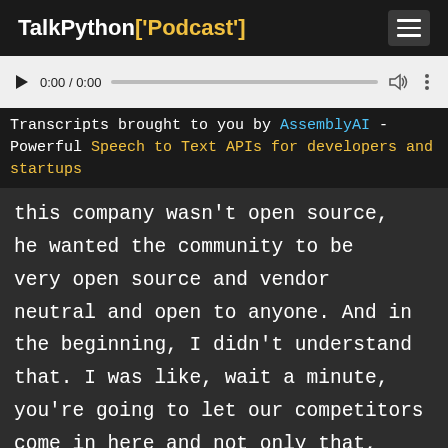TalkPython['Podcast']
[Figure (screenshot): Audio player with play button, time display 0:00 / 0:00, progress bar, volume and more icons]
Transcripts brought to you by AssemblyAI - Powerful Speech to Text APIs for developers and startups
this company wasn't open source, he wanted the community to be very open source and vendor neutral and open to anyone. And in the beginning, I didn't understand that. I was like, wait a minute, you're going to let our competitors come in here and not only that, you're going to let them give